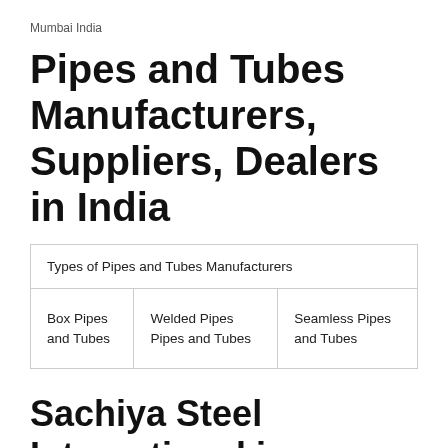Mumbai India
Pipes and Tubes Manufacturers, Suppliers, Dealers in India
| Types of Pipes and Tubes Manufacturers |
| --- |
| Box Pipes and Tubes | Welded Pipes Pipes and Tubes | Seamless Pipes and Tubes |
Sachiya Steel International is one